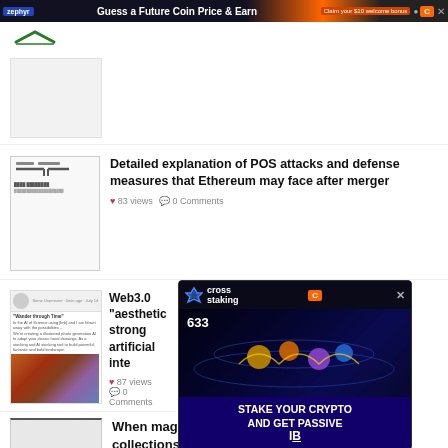Guess a Future Coin Price & Earn
[Figure (logo): Website logo - arrow/bookmark icon]
[Figure (screenshot): Blank article thumbnail placeholder]
Detailed explanation of POS attacks and defense measures that Ethereum may face after merger
83 views  0 Comments
[Figure (screenshot): Document with diagram thumbnail]
Web3.0 "aesthetic ... strong artificial inte...
87 views  0 Comments
[Figure (screenshot): Social media post with colorful abstract image]
[Figure (screenshot): Cross staking advertisement overlay - STAKE YOUR CRYPTO AND GET PASSIVE IB]
When magic core stops publishing digital collections, take a look at the